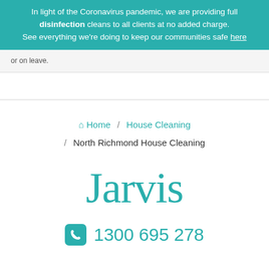In light of the Coronavirus pandemic, we are providing full disinfection cleans to all clients at no added charge. See everything we're doing to keep our communities safe here
or on leave.
Home / House Cleaning / North Richmond House Cleaning
Jarvis
1300 695 278